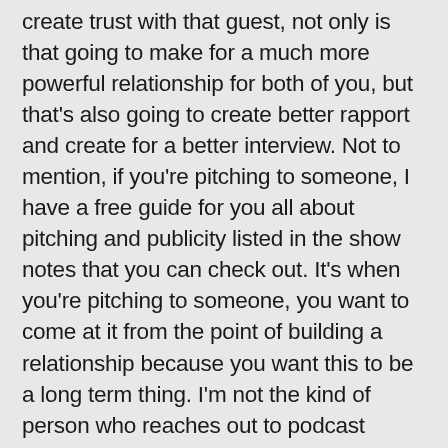create trust with that guest, not only is that going to make for a much more powerful relationship for both of you, but that's also going to create better rapport and create for a better interview. Not to mention, if you're pitching to someone, I have a free guide for you all about pitching and publicity listed in the show notes that you can check out. It's when you're pitching to someone, you want to come at it from the point of building a relationship because you want this to be a long term thing. I'm not the kind of person who reaches out to podcast guests and then drops them like a hot potato afterwards because I'm done with them. That's not what I'm about, as a podcast host or as a human. When I create a relationship with somebody, it's because I have respect for them. It's because I admire them in some way or I really truly see their value as a human